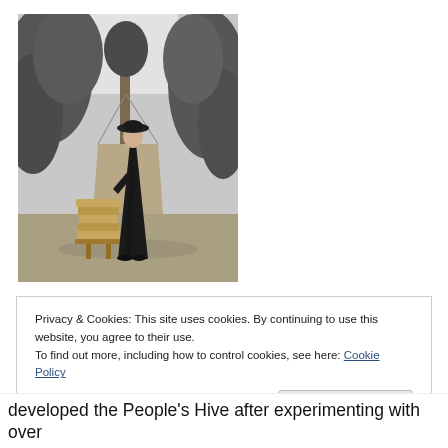[Figure (illustration): Black and white illustration/photograph of a robed figure (monk or friar) standing next to a beehive stack on a path lined with tall hedges and trees.]
Privacy & Cookies: This site uses cookies. By continuing to use this website, you agree to their use.
To find out more, including how to control cookies, see here: Cookie Policy
Close and accept
developed the People's Hive after experimenting with over